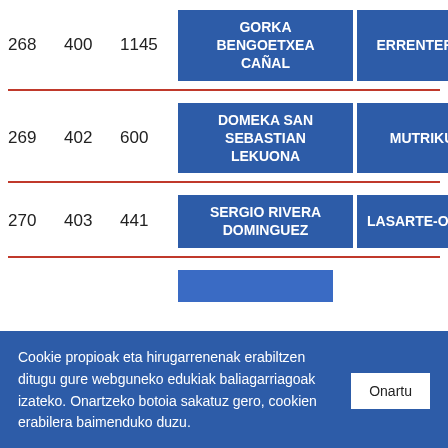| # | Code | Votes | Name | Place |
| --- | --- | --- | --- | --- |
| 268 | 400 | 1145 | GORKA BENGOETXEA CAÑAL | ERRENTERIA |
| 269 | 402 | 600 | DOMEKA SAN SEBASTIAN LEKUONA | MUTRIKU |
| 270 | 403 | 441 | SERGIO RIVERA DOMINGUEZ | LASARTE-ORIA |
Cookie propioak eta hirugarrenenak erabiltzen ditugu gure webguneko edukiak baliagarriagoak izateko. Onartzeko botoia sakatuz gero, cookien erabilera baimenduko duzu.